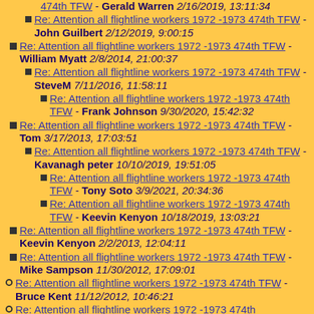Re: Attention all flightline workers 1972 -1973 474th TFW - Gerald Warren 2/16/2019, 13:11:34
Re: Attention all flightline workers 1972 -1973 474th TFW - John Guilbert 2/12/2019, 9:00:15
Re: Attention all flightline workers 1972 -1973 474th TFW - William Myatt 2/8/2014, 21:00:37
Re: Attention all flightline workers 1972 -1973 474th TFW - SteveM 7/11/2016, 11:58:11
Re: Attention all flightline workers 1972 -1973 474th TFW - Frank Johnson 9/30/2020, 15:42:32
Re: Attention all flightline workers 1972 -1973 474th TFW - Tom 3/17/2013, 17:03:51
Re: Attention all flightline workers 1972 -1973 474th TFW - Kavanagh peter 10/10/2019, 19:51:05
Re: Attention all flightline workers 1972 -1973 474th TFW - Tony Soto 3/9/2021, 20:34:36
Re: Attention all flightline workers 1972 -1973 474th TFW - Keevin Kenyon 10/18/2019, 13:03:21
Re: Attention all flightline workers 1972 -1973 474th TFW - Keevin Kenyon 2/2/2013, 12:04:11
Re: Attention all flightline workers 1972 -1973 474th TFW - Mike Sampson 11/30/2012, 17:09:01
Re: Attention all flightline workers 1972 -1973 474th TFW - Bruce Kent 11/12/2012, 10:46:21